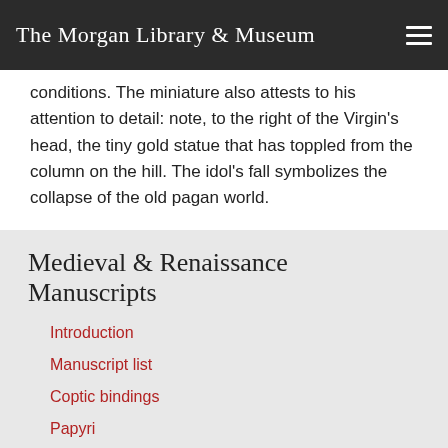The Morgan Library & Museum
conditions. The miniature also attests to his attention to detail: note, to the right of the Virgin's head, the tiny gold statue that has toppled from the column on the hill. The idol's fall symbolizes the collapse of the old pagan world.
Medieval & Renaissance Manuscripts
Introduction
Manuscript list
Coptic bindings
Papyri
Indian and South Asian Miniatures
Iconographic search